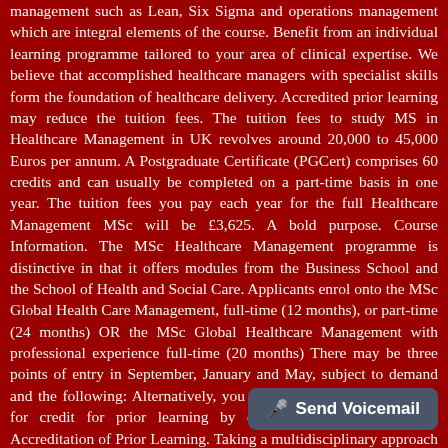management such as Lean, Six Sigma and operations management which are integral elements of the course. Benefit from an individual learning programme tailored to your area of clinical expertise. We believe that accomplished healthcare managers with specialist skills form the foundation of healthcare delivery. Accredited prior learning may reduce the tuition fees. The tuition fees to study MS in Healthcare Management in UK revolves around 20,000 to 45,000 Euros per annum. A Postgraduate Certificate (PGCert) comprises 60 credits and can usually be completed on a part-time basis in one year. The tuition fees you pay each year for the full Healthcare Management MSc will be £3,625. A bold purpose. Course Information. The MSc Healthcare Management programme is distinctive in that it offers modules from the Business School and the School of Health and Social Care. Applicants enrol onto the MSc Global Health Care Management, full-time (12 months), or part-time (24 months) OR the MSc Global Healthcare Management with professional experience full-time (20 months) There may be three points of entry in September, January and May, subject to demand and the following: Alternatively, you may be able to make a claim for credit for prior learning by completing Recognition and Accreditation of Prior Learning. Taking a multidisciplinary approach to the subject, we look at . On the two-year work experience route, the course offers useful networking opportunities. Complete four 12-week modules in Biomedical Science (Online), Healthcare Quality Management
[Figure (screenshot): Send Voicemail button overlay at bottom right of the screen]